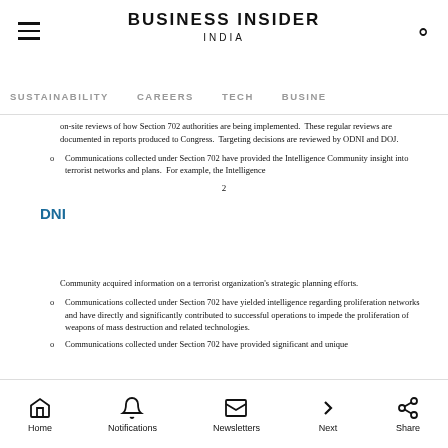BUSINESS INSIDER INDIA
SUSTAINABILITY  CAREERS  TECH  BUSINESS
on-site reviews of how Section 702 authorities are being implemented. These regular reviews are documented in reports produced to Congress. Targeting decisions are reviewed by ODNI and DOJ.
Communications collected under Section 702 have provided the Intelligence Community insight into terrorist networks and plans. For example, the Intelligence
2
DNI
Community acquired information on a terrorist organization's strategic planning efforts.
Communications collected under Section 702 have yielded intelligence regarding proliferation networks and have directly and significantly contributed to successful operations to impede the proliferation of weapons of mass destruction and related technologies.
Communications collected under Section 702 have provided significant and unique
Home  Notifications  Newsletters  Next  Share